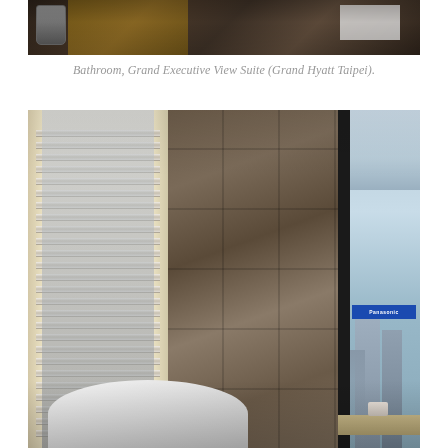[Figure (photo): Top portion of a bathroom photo showing a countertop with a metallic cup/tumbler and some items, likely from the Grand Executive View Suite at Grand Hyatt Taipei.]
Bathroom, Grand Executive View Suite (Grand Hyatt Taipei).
[Figure (photo): Interior bathroom photo of the Grand Executive View Suite at Grand Hyatt Taipei. Features marble-tiled walls in dark brownish-grey tones, plantation shutters on the left, a wall-mounted television embedded in the marble, a freestanding chrome faucet, a white freestanding bathtub in the foreground, and a large corner window on the right showing a city view of Taipei with a Panasonic sign visible.]